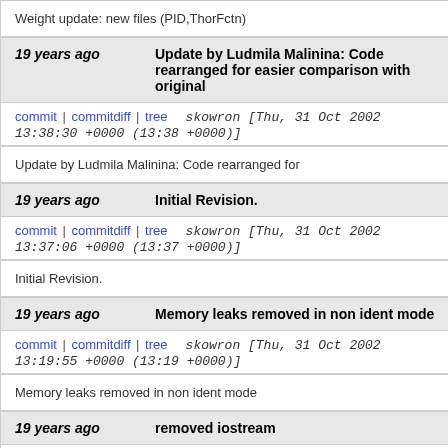Weight update: new files (PID,ThorFctn)
19 years ago    Update by Ludmila Malinina: Code rearranged for easier comparison with original
commit | commitdiff | tree    skowron [Thu, 31 Oct 2002 13:38:30 +0000 (13:38 +0000)]
Update by Ludmila Malinina: Code rearranged for
19 years ago    Initial Revision.
commit | commitdiff | tree    skowron [Thu, 31 Oct 2002 13:37:06 +0000 (13:37 +0000)]
Initial Revision.
19 years ago    Memory leaks removed in non ident mode
commit | commitdiff | tree    skowron [Thu, 31 Oct 2002 13:19:55 +0000 (13:19 +0000)]
Memory leaks removed in non ident mode
19 years ago    removed iostream
commit | commitdiff | tree    schutz [Thu, 31 Oct 2002 12:51:37